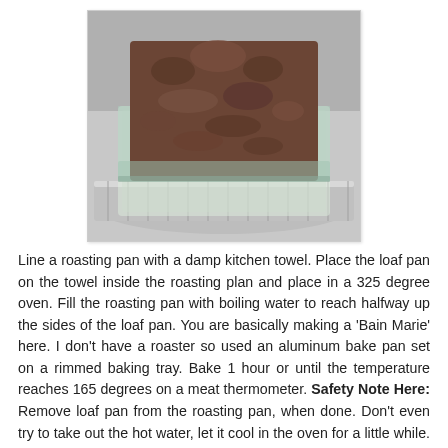[Figure (photo): A glass loaf pan filled with raw ground meat sitting inside a larger aluminum foil roasting pan on a silver tray, ready to be baked.]
Line a roasting pan with a damp kitchen towel.  Place the loaf pan on the towel inside the roasting plan and place in a 325 degree oven.  Fill the roasting pan with boiling water to reach halfway up the sides of the loaf pan. You are basically making a 'Bain Marie' here.  I don't have a roaster so used an aluminum bake pan set on a rimmed baking tray.    Bake 1 hour or until the temperature reaches 165 degrees on a meat thermometer.  Safety Note Here:  Remove loaf pan from the roasting pan, when done.  Don't even try to take out the hot water, let it cool in the oven for a little while.  They will be very hot. Be very careful if removing immediately. Drain